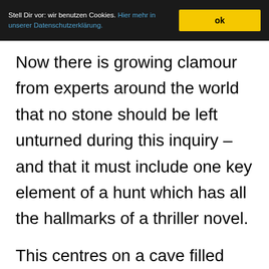Stell Dir vor: wir benutzen Cookies. Hier mehr in unserer Datenschutzerklärung. ok
Now there is growing clamour from experts around the world that no stone should be left unturned during this inquiry – and that it must include one key element of a hunt which has all the hallmarks of a thriller novel.

This centres on a cave filled with bats, a clutch of mysterious deaths,